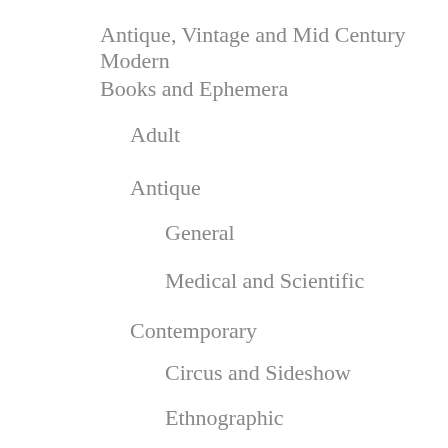Antique, Vintage and Mid Century Modern
Books and Ephemera
Adult
Antique
General
Medical and Scientific
Contemporary
Circus and Sideshow
Ethnographic
General
Ephemera
Curiosities and Oddities